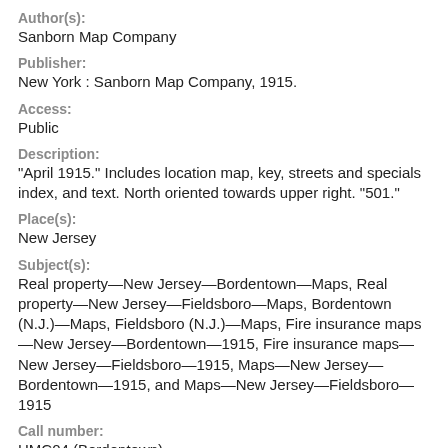Author(s):
Sanborn Map Company
Publisher:
New York : Sanborn Map Company, 1915.
Access:
Public
Description:
"April 1915." Includes location map, key, streets and specials index, and text. North oriented towards upper right. "501."
Place(s):
New Jersey
Subject(s):
Real property—New Jersey—Bordentown—Maps, Real property—New Jersey—Fieldsboro—Maps, Bordentown (N.J.)—Maps, Fieldsboro (N.J.)—Maps, Fire insurance maps—New Jersey—Bordentown—1915, Fire insurance maps—New Jersey—Fieldsboro—1915, Maps—New Jersey—Bordentown—1915, and Maps—New Jersey—Fieldsboro—1915
Call number:
HMC04 (Bordentown)